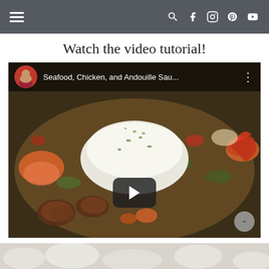Navigation bar with hamburger menu and social icons (search, Facebook, Instagram, Pinterest, YouTube)
Watch the video tutorial!
[Figure (screenshot): YouTube video thumbnail showing a bowl of seafood gumbo with shrimp, sausage, crab, and a mound of white rice garnished with herbs. Video title reads 'Seafood, Chicken, and Andouille Sau...' with a circular avatar of a woman in the top-left and a play button in the center.]
[Figure (photo): Partial image of what appears to be food or ice at the bottom of the page.]